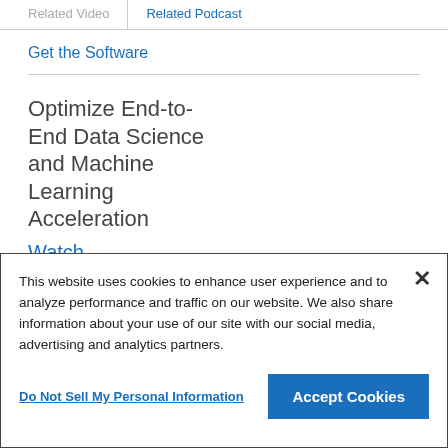Related Video | Related Podcast
Get the Software
Optimize End-to-End Data Science and Machine Learning Acceleration
Watch
This website uses cookies to enhance user experience and to analyze performance and traffic on our website. We also share information about your use of our site with our social media, advertising and analytics partners.
Do Not Sell My Personal Information
Accept Cookies